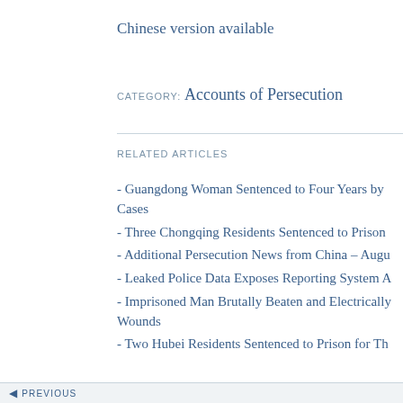Chinese version available
CATEGORY: Accounts of Persecution
RELATED ARTICLES
- Guangdong Woman Sentenced to Four Years by Cases
- Three Chongqing Residents Sentenced to Prison
- Additional Persecution News from China – Augu
- Leaked Police Data Exposes Reporting System A
- Imprisoned Man Brutally Beaten and Electrically Wounds
- Two Hubei Residents Sentenced to Prison for Th
PREVIOUS